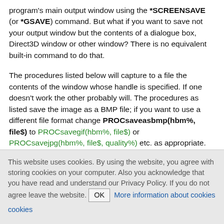program's main output window using the *SCREENSAVE (or *GSAVE) command. But what if you want to save not your output window but the contents of a dialogue box, Direct3D window or other window? There is no equivalent built-in command to do that.
The procedures listed below will capture to a file the contents of the window whose handle is specified. If one doesn't work the other probably will. The procedures as listed save the image as a BMP file; if you want to use a different file format change PROCsaveasbmp(hbm%, file$) to PROCsavegif(hbm%, file$) or PROCsavejpg(hbm%, file$, quality%) etc. as appropriate.
This website uses cookies. By using the website, you agree with storing cookies on your computer. Also you acknowledge that you have read and understand our Privacy Policy. If you do not agree leave the website. OK More information about cookies